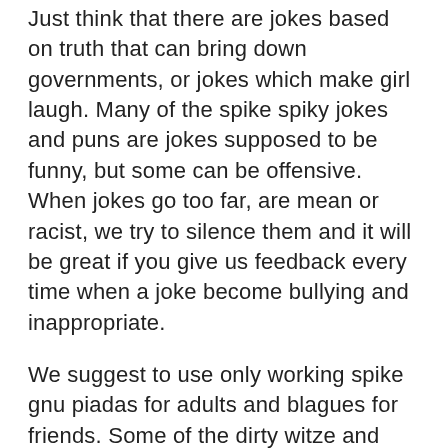Just think that there are jokes based on truth that can bring down governments, or jokes which make girl laugh. Many of the spike spiky jokes and puns are jokes supposed to be funny, but some can be offensive. When jokes go too far, are mean or racist, we try to silence them and it will be great if you give us feedback every time when a joke become bullying and inappropriate.
We suggest to use only working spike gnu piadas for adults and blagues for friends. Some of the dirty witze and dark jokes are funny, but use them with caution in real life. Try to remember funny jokes you've never heard to tell your friends and will make you laugh...